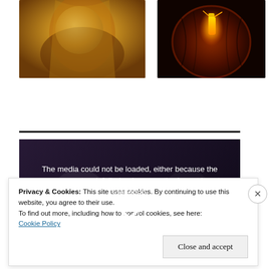[Figure (photo): Two photos side by side: left shows a person in golden/yellow clothing, right shows a glowing carved Halloween pumpkin jack-o-lantern]
[Figure (screenshot): Video player error screen with dark background showing message: 'The media could not be loaded, either because the server or network failed or because the format is not supported.' with an X icon]
Privacy & Cookies: This site uses cookies. By continuing to use this website, you agree to their use.
To find out more, including how to control cookies, see here:
Cookie Policy
Close and accept